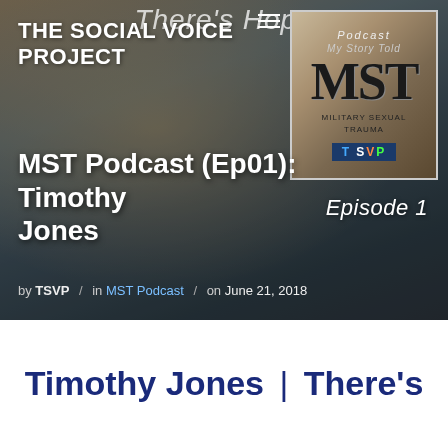[Figure (photo): Hero image showing a man in a blue suit speaking at a microphone, overlaid with text elements. Background shows a warmly lit room. Top area shows 'There's Hope' in italic. A podcast badge for MST (Military Sexual Trauma) - My Story Told - TSVP is in the top right corner. Episode 1 label on the right.]
THE SOCIAL VOICE PROJECT
Episode 1
MST Podcast (Ep01): Timothy Jones
by TSVP / in MST Podcast / on June 21, 2018
Timothy Jones | There's